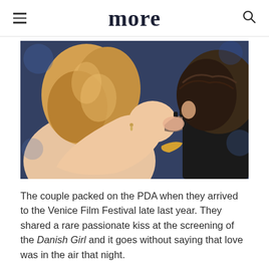more
[Figure (photo): A couple sharing a passionate kiss at the Venice Film Festival. A blonde woman with an updo hairstyle wearing earrings and a gold bracelet kisses a dark-haired man in a suit.]
The couple packed on the PDA when they arrived to the Venice Film Festival late last year. They shared a rare passionate kiss at the screening of the Danish Girl and it goes without saying that love was in the air that night.